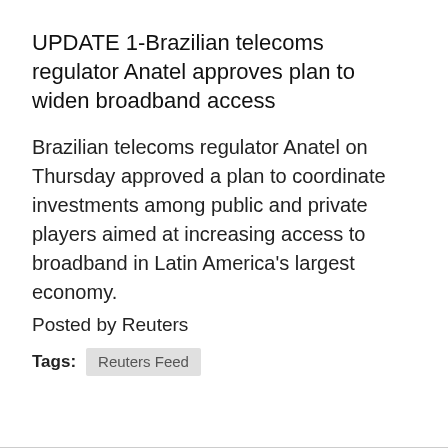UPDATE 1-Brazilian telecoms regulator Anatel approves plan to widen broadband access
Brazilian telecoms regulator Anatel on Thursday approved a plan to coordinate investments among public and private players aimed at increasing access to broadband in Latin America's largest economy.
Posted by Reuters
Tags: Reuters Feed